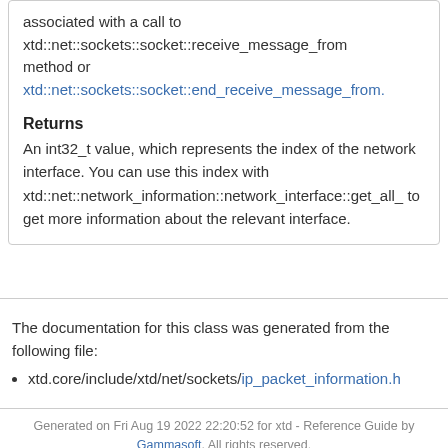associated with a call to xtd::net::sockets::socket::receive_message_from method or xtd::net::sockets::socket::end_receive_message_from.
Returns
An int32_t value, which represents the index of the network interface. You can use this index with xtd::net::network_information::network_interface::get_all_ to get more information about the relevant interface.
The documentation for this class was generated from the following file:
xtd.core/include/xtd/net/sockets/ip_packet_information.h
Generated on Fri Aug 19 2022 22:20:52 for xtd - Reference Guide by Gammasoft. All rights reserved.